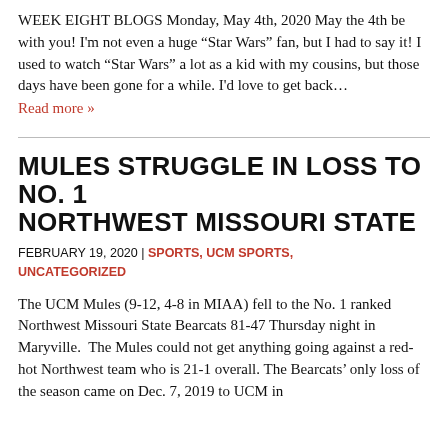WEEK EIGHT BLOGS Monday, May 4th, 2020 May the 4th be with you! I'm not even a huge “Star Wars” fan, but I had to say it! I used to watch “Star Wars” a lot as a kid with my cousins, but those days have been gone for a while. I'd love to get back…
Read more »
MULES STRUGGLE IN LOSS TO NO. 1 NORTHWEST MISSOURI STATE
FEBRUARY 19, 2020 | SPORTS, UCM SPORTS, UNCATEGORIZED
The UCM Mules (9-12, 4-8 in MIAA) fell to the No. 1 ranked Northwest Missouri State Bearcats 81-47 Thursday night in Maryville.  The Mules could not get anything going against a red-hot Northwest team who is 21-1 overall. The Bearcats’ only loss of the season came on Dec. 7, 2019 to UCM in